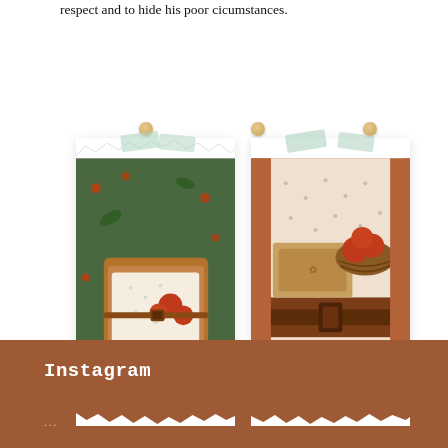respect and to hide his poor cicumstances.
[Figure (photo): Two polaroid-style photos pinned to a white background with decorative tape. Left photo: aerial view of a brown leather suitcase open on green grass with apples and a polka-dot cloth. Right photo: terracotta background with a basket of red apples, a brown suitcase with belt strap, and polka-dot cloth.]
Instagram
...